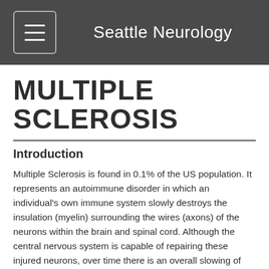Seattle Neurology
MULTIPLE SCLEROSIS
Introduction
Multiple Sclerosis is found in 0.1% of the US population.  It represents an autoimmune disorder in which an individual's own immune system slowly destroys the insulation (myelin) surrounding the wires (axons) of the neurons within the brain and spinal cord.  Although the central nervous system is capable of repairing these injured neurons, over time there is an overall slowing of conductivity which can lead to varying degrees of disability.The majority of individuals are classified as Relapsing-Remitting MS.  This simply means that they go for many months or years in between clinical attacks (relapse) and therefore are considered at any one time either 'in remission' or having a relapse.  In fact, approximately 30% of all patients with MS go years (sometimes decades) between clinical attacks and in the past were given the moniker 'Benign MS' although today they would be classified Relapsing-Remitting MS. Unfortunately, they are then continuing